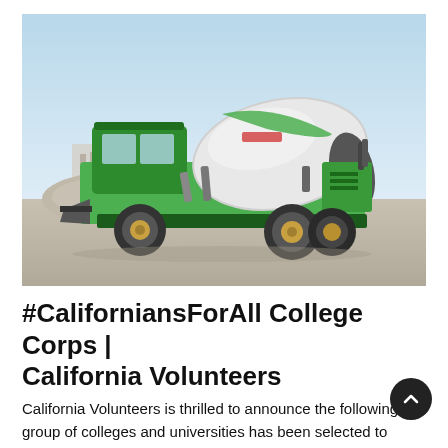[Figure (photo): A green self-loading concrete mixer truck parked on a gravel surface with industrial buildings and a clear sky in the background.]
#CaliforniansForAll College Corps | California Volunteers
California Volunteers is thrilled to announce the following group of colleges and universities has been selected to partner with us in